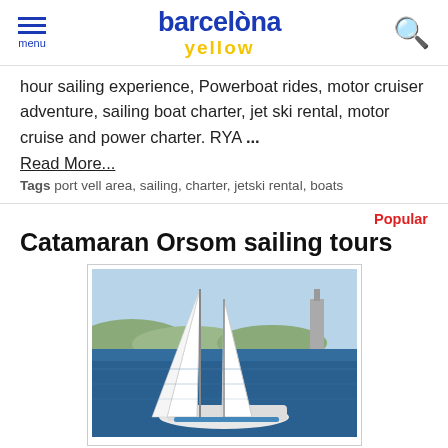barcelona yellow — menu / search
hour sailing experience, Powerboat rides, motor cruiser adventure, sailing boat charter, jet ski rental, motor cruise and power charter. RYA ...
Read More...
Tags  port vell area, sailing, charter, jetski rental, boats
Popular
Catamaran Orsom sailing tours
[Figure (photo): Aerial view of the Catamaran Orsom sailing in Barcelona harbour with full white sails raised, city skyline and mountains in background]
Catamaran Orsom is the largest sail catamaran in Barcelona harbour. Orsom offers fun and exciting daily